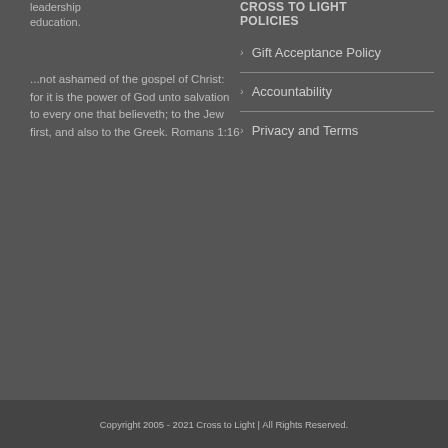leadership education.
...not ashamed of the gospel of Christ: for it is the power of God unto salvation to every one that believeth; to the Jew first, and also to the Greek. Romans 1:16
CROSS TO LIGHT POLICIES
Gift Acceptance Policy
Accountability
Privacy and Terms
Copyright 2005 - 2021 Cross to Light | All Rights Reserved.